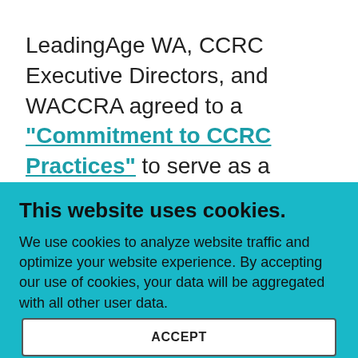LeadingAge WA, CCRC Executive Directors, and WACCRA agreed to a "Commitment to CCRC Practices" to serve as a further agreement between management and residents within each of Washington's CCRCs. Management at each of the 23 registered CCRCS in the state has signed the Commitment to CCRC Practices document, which took effect on January 1, 2021.
This website uses cookies.
We use cookies to analyze website traffic and optimize your website experience. By accepting our use of cookies, your data will be aggregated with all other user data.
ACCEPT